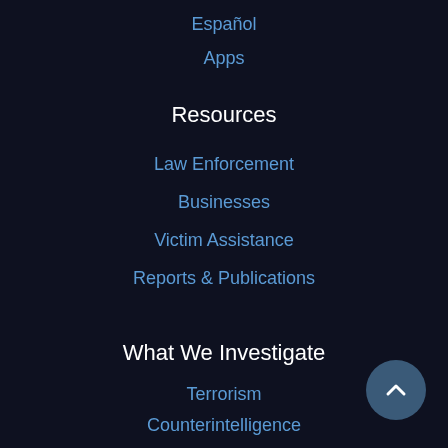Español
Apps
Resources
Law Enforcement
Businesses
Victim Assistance
Reports & Publications
What We Investigate
Terrorism
Counterintelligence
Cyber Crime
Public Corruption